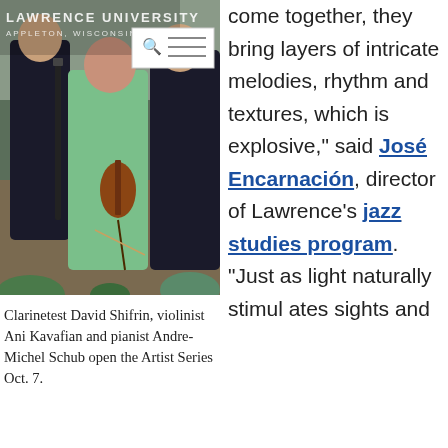[Figure (photo): Three musicians posing outdoors: a clarinetist on the left, a violinist in the center holding a violin, and a pianist on the right. Lawrence University Appleton, Wisconsin text overlay on the photo.]
Clarinetest David Shifrin, violinist Ani Kavafian and pianist Andre-Michel Schub open the Artist Series Oct. 7.
come together, they bring layers of intricate melodies, rhythm and textures, which is explosive," said José Encarnación, director of Lawrence's jazz studies program. "Just as light naturally stimulates sights and